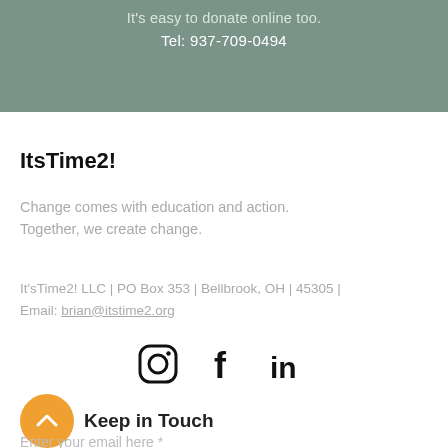It's easy to donate online too.
Tel: 937-709-0494
ItsTime2!
Change comes with education and action. Together, we create change.
It'sTime2! LLC | PO Box 353 | Bellbrook, OH | 45305 | Email: brian@itstime2.org
[Figure (infographic): Instagram, Facebook, and LinkedIn social media icons in a row]
Keep in Touch
Enter your email here *